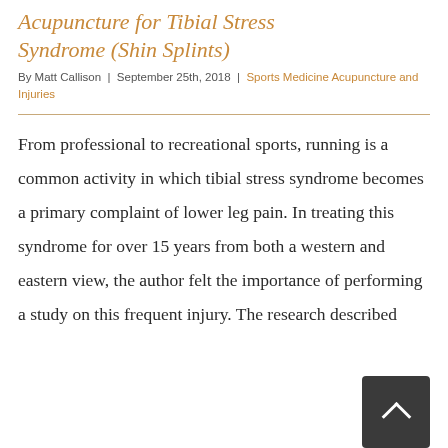Acupuncture for Tibial Stress Syndrome (Shin Splints)
By Matt Callison | September 25th, 2018 | Sports Medicine Acupuncture and Injuries
From professional to recreational sports, running is a common activity in which tibial stress syndrome becomes a primary complaint of lower leg pain. In treating this syndrome for over 15 years from both a western and eastern view, the author felt the importance of performing a study on this frequent injury. The research described